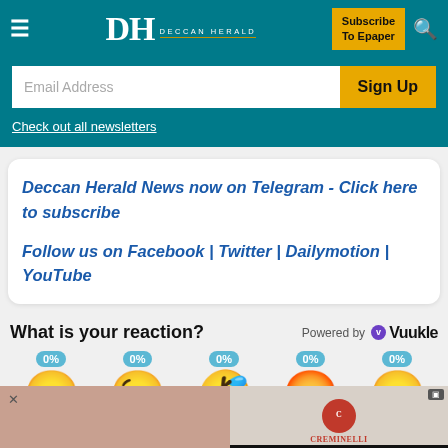Deccan Herald
Email Address
Sign Up
Check out all newsletters
Deccan Herald News now on Telegram - Click here to subscribe

Follow us on Facebook | Twitter | Dailymotion | YouTube
What is your reaction?
Powered by Vuukle
[Figure (infographic): Five emoji reaction faces each showing 0% — happy, wink, laughing, angry, sad — with blue percentage badges]
[Figure (other): Advertisement bar: Creminelli fine meats ad with brand logo and VOX.TV label]